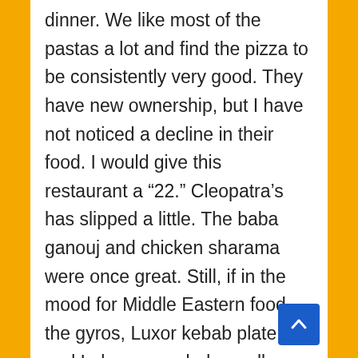dinner. We like most of the pastas a lot and find the pizza to be consistently very good. They have new ownership, but I have not noticed a decline in their food. I would give this restaurant a “22.” Cleopatra’s has slipped a little. The baba ganouj and chicken sharama were once great. Still, if in the mood for Middle Eastern food, the gyros, Luxor kebab plate and Lebanese salad are all